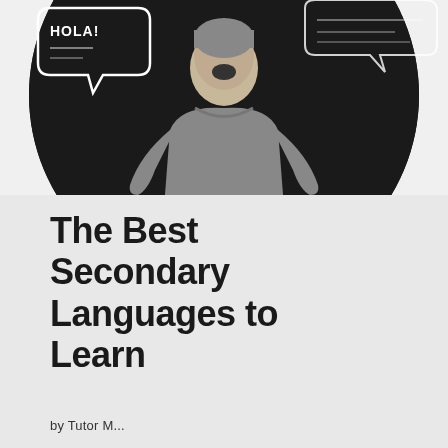[Figure (photo): A woman in a grey long-sleeve top against a dark circular background, with speech bubbles. One visible speech bubble on the upper left reads 'HOLA!' in chalk-style lettering. Another partial speech bubble is visible on the upper right. The circular dark background sits on a light grey page background.]
The Best Secondary Languages to Learn
by [...] Tutor M...